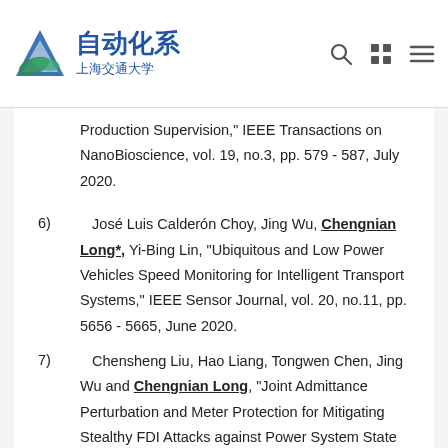自动化系 上海交通大学
Production Supervision," IEEE Transactions on NanoBioscience, vol. 19, no.3, pp. 579 - 587, July 2020.
6) José Luis Calderón Choy, Jing Wu, Chengnian Long*, Yi-Bing Lin, "Ubiquitous and Low Power Vehicles Speed Monitoring for Intelligent Transport Systems," IEEE Sensor Journal, vol. 20, no.11, pp. 5656 - 5665, June 2020.
7) Chensheng Liu, Hao Liang, Tongwen Chen, Jing Wu and Chengnian Long, "Joint Admittance Perturbation and Meter Protection for Mitigating Stealthy FDI Attacks against Power System State Estimation," IEEE Transactions on Power Systems, vol. 35, no. 2,